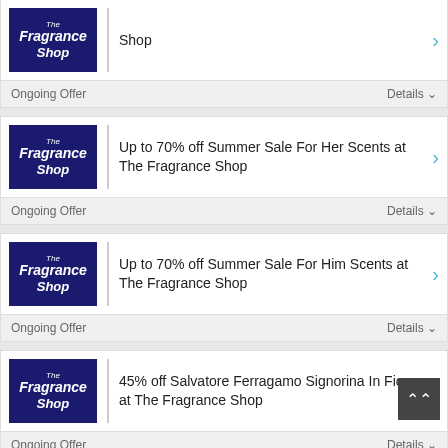Shop
Ongoing Offer   Details
Up to 70% off Summer Sale For Her Scents at The Fragrance Shop
Ongoing Offer   Details
Up to 70% off Summer Sale For Him Scents at The Fragrance Shop
Ongoing Offer   Details
45% off Salvatore Ferragamo Signorina In Fiore at The Fragrance Shop
Ongoing Offer   Details
£20 off when You Spend £100 at The Fragrance Shop
Ongoing Offer   Details